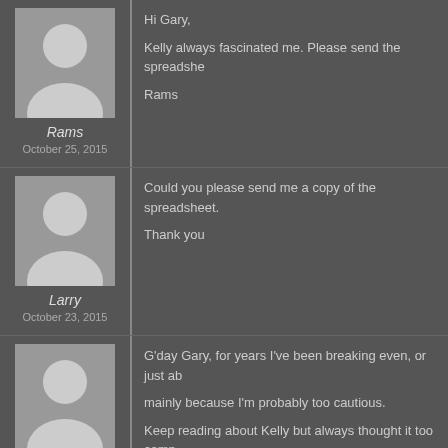[Figure (illustration): Generic user avatar placeholder for Rams]
Rams
October 25, 2015
Hi Gary,
Kelly always fascinated me. Please send the spreadsheet.
Rams
[Figure (illustration): Generic user avatar placeholder for Larry]
Larry
October 23, 2015
Could you please send me a copy of the spreadsheet.
Thank you
[Figure (illustration): Generic user avatar placeholder for Peter Moran]
Peter Moran
October 5, 2015
G'day Gary, for years I've been breaking even, or just ab
mainly because I'm probably too cautious.
Keep reading about Kelly but always thought it too comp
I'd like to have a go with your spreadsheet.
Thanks,………Peter M